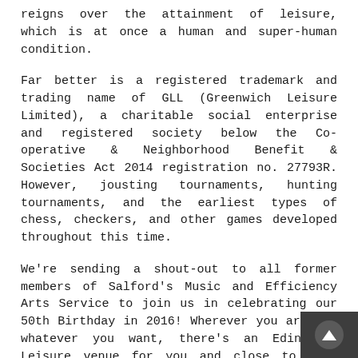reigns over the attainment of leisure, which is at once a human and super-human condition.
Far better is a registered trademark and trading name of GLL (Greenwich Leisure Limited), a charitable social enterprise and registered society below the Co-operative & Neighborhood Benefit & Societies Act 2014 registration no. 27793R. However, jousting tournaments, hunting tournaments, and the earliest types of chess, checkers, and other games developed throughout this time.
We're sending a shout-out to all former members of Salford's Music and Efficiency Arts Service to join us in celebrating our 50th Birthday in 2016! Wherever you are, or whatever you want, there's an Edinburgh Leisure venue for you and close to your residence and work. Seretse and Ruth defied loved ones, apartheid and empire – their love triumphed over each obstacle flung in their path and in so performing they transformed their nation and inspired the planet. Travel + Leisure could get compensation for some